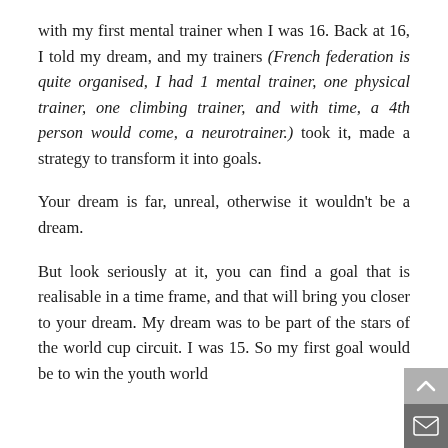with my first mental trainer when I was 16. Back at 16, I told my dream, and my trainers (French federation is quite organised, I had 1 mental trainer, one physical trainer, one climbing trainer, and with time, a 4th person would come, a neurotrainer.) took it, made a strategy to transform it into goals.
Your dream is far, unreal, otherwise it wouldn't be a dream.
But look seriously at it, you can find a goal that is realisable in a time frame, and that will bring you closer to your dream. My dream was to be part of the stars of the world cup circuit. I was 15. So my first goal would be to win the youth world